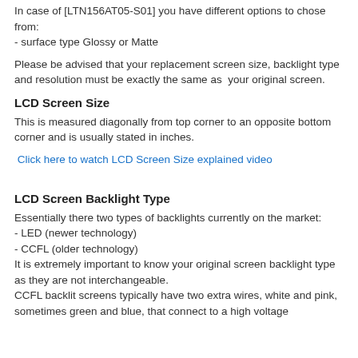In case of [LTN156AT05-S01] you have different options to chose from:
- surface type Glossy or Matte
Please be advised that your replacement screen size, backlight type and resolution must be exactly the same as your original screen.
LCD Screen Size
This is measured diagonally from top corner to an opposite bottom corner and is usually stated in inches.
Click here to watch LCD Screen Size explained video
LCD Screen Backlight Type
Essentially there two types of backlights currently on the market:
- LED (newer technology)
- CCFL (older technology)
It is extremely important to know your original screen backlight type as they are not interchangeable.
CCFL backlit screens typically have two extra wires, white and pink, sometimes green and blue, that connect to a high voltage